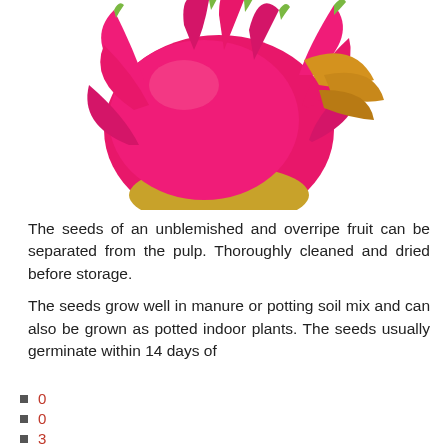[Figure (photo): A pink/magenta dragon fruit (pitaya) photographed against a white background, showing the top portion of the fruit with green-tipped scales and a yellow stem.]
The seeds of an unblemished and overripe fruit can be separated from the pulp. Thoroughly cleaned and dried before storage.
The seeds grow well in manure or potting soil mix and can also be grown as potted indoor plants. The seeds usually germinate within 14 days of
0
0
3
1